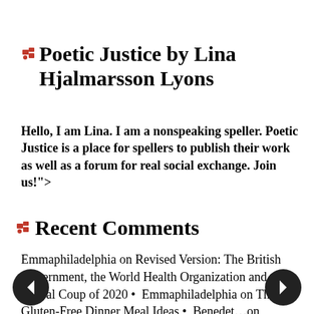Poetic Justice by Lina Hjalmarsson Lyons
Hello, I am Lina. I am a nonspeaking speller. Poetic Justice is a place for spellers to publish their work as well as a forum for real social exchange. Join us!">
Recent Comments
Emmaphiladelphia on Revised Version: The British Government, the World Health Organization and the Global Coup of 2020 •  Emmaphiladelphia on Three Gluten-Free Dinner Meal Ideas •  Benedet on Revised Version: The British Government, the World Health Organization and the Global Coup of 2020 •  Jerry Martinez on Three Gluten-Free